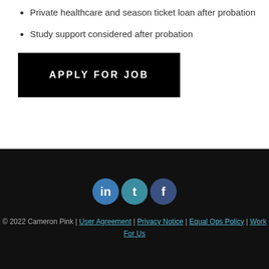Private healthcare and season ticket loan after probation
Study support considered after probation
APPLY FOR JOB
[Figure (other): Social media icons: LinkedIn, Twitter, Facebook]
© 2022 Cameron Pink | User Agreement | Privacy Notice | Equal Ops Policy | Work For Us